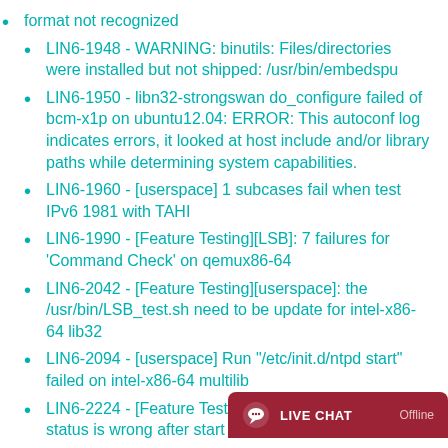format not recognized
LIN6-1948 - WARNING: binutils: Files/directories were installed but not shipped: /usr/bin/embedspu
LIN6-1950 - libn32-strongswan do_configure failed of bcm-x1p on ubuntu12.04: ERROR: This autoconf log indicates errors, it looked at host include and/or library paths while determining system capabilities.
LIN6-1960 - [userspace] 1 subcases fail when test IPv6 1981 with TAHI
LIN6-1990 - [Feature Testing][LSB]: 7 failures for 'Command Check' on qemux86-64
LIN6-2042 - [Feature Testing][userspace]: the /usr/bin/LSB_test.sh need to be update for intel-x86-64 lib32
LIN6-2094 - [userspace] Run "/etc/init.d/ntpd start" failed on intel-x86-64 multilib
LIN6-2224 - [Feature Testing][userspace]: daemon status is wrong after start t
LIN6-2244 - [Feature Testin